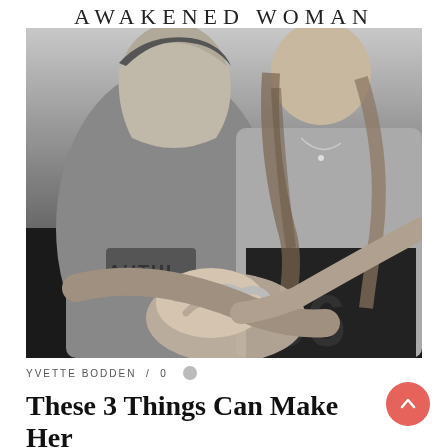AWAKENED WOMAN
[Figure (photo): Black and white photograph of a man and woman together, their hands intertwined and held against the woman's chest in an intimate pose.]
YVETTE BODDEN / 0
These 3 Things Can Make Her Susceptible to Being Unfaithful